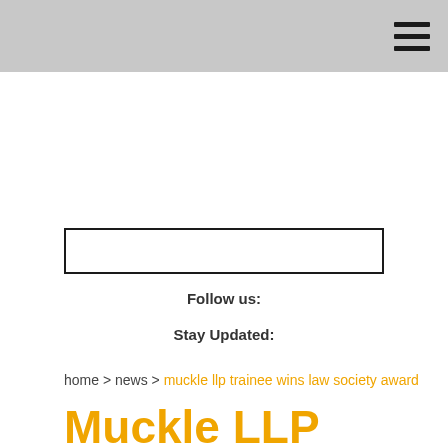Follow us:
Stay Updated:
home > news > muckle llp trainee wins law society award
Muckle LLP Trainee Wins Law Socie...